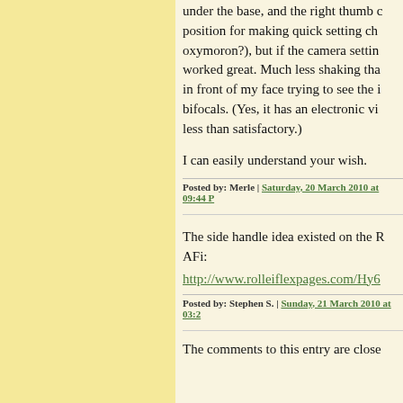under the base, and the right thumb c position for making quick setting ch oxymoron?), but if the camera settin worked great. Much less shaking tha in front of my face trying to see the i bifocals. (Yes, it has an electronic vi less than satisfactory.)
I can easily understand your wish.
Posted by: Merle | Saturday, 20 March 2010 at 09:44 P
The side handle idea existed on the R AFi:
http://www.rolleiflexpages.com/Hy6
Posted by: Stephen S. | Sunday, 21 March 2010 at 03:2
The comments to this entry are close